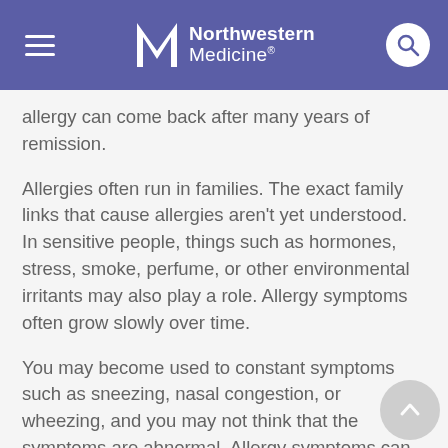Northwestern Medicine
allergy can come back after many years of remission.
Allergies often run in families. The exact family links that cause allergies aren't yet understood. In sensitive people, things such as hormones, stress, smoke, perfume, or other environmental irritants may also play a role. Allergy symptoms often grow slowly over time.
You may become used to constant symptoms such as sneezing, nasal congestion, or wheezing, and you may not think that the symptoms are abnormal. Allergy symptoms can often be stopped or controlled with the help of a healthcare provider who specializes in treating allergies (allergist). Correct identification and